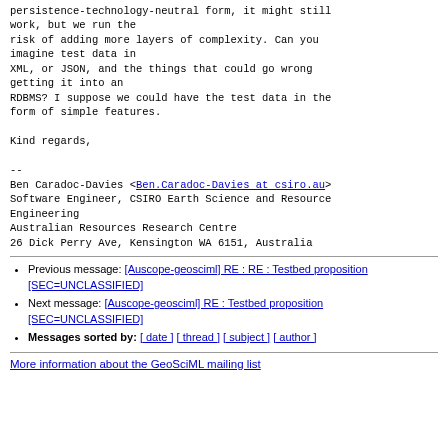persistence-technology-neutral form, it might still work, but we run the risk of adding more layers of complexity. Can you imagine test data in XML, or JSON, and the things that could go wrong getting it into an RDBMS? I suppose we could have the test data in the form of simple features.

Kind regards,

--
Ben Caradoc-Davies <Ben.Caradoc-Davies at csiro.au>
Software Engineer, CSIRO Earth Science and Resource Engineering
Australian Resources Research Centre
26 Dick Perry Ave, Kensington WA 6151, Australia
Previous message: [Auscope-geosciml] RE : RE : Testbed proposition [SEC=UNCLASSIFIED]
Next message: [Auscope-geosciml] RE : Testbed proposition [SEC=UNCLASSIFIED]
Messages sorted by: [ date ] [ thread ] [ subject ] [ author ]
More information about the GeoSciML mailing list